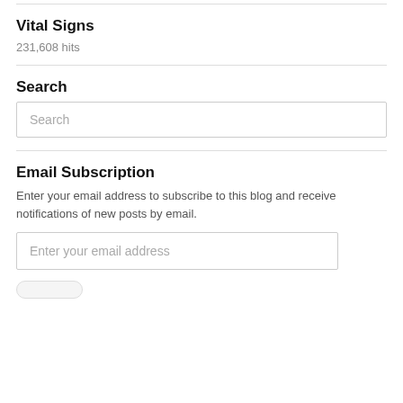Vital Signs
231,608 hits
Search
Search
Email Subscription
Enter your email address to subscribe to this blog and receive notifications of new posts by email.
Enter your email address